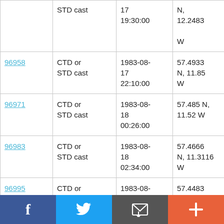| ID | Type | Date/Time | Location | Vessel |
| --- | --- | --- | --- | --- |
|  | CTD or STD cast | 1983-08-17 19:30:00 | N, 12.2483 W | RRS Challenger CH11/83 |
| 96958 | CTD or STD cast | 1983-08-17 22:10:00 | 57.4933 N, 11.85 W | RRS Challenger CH11/83 |
| 96971 | CTD or STD cast | 1983-08-18 00:26:00 | 57.485 N, 11.52 W | RRS Challenger CH11/83 |
| 96983 | CTD or STD cast | 1983-08-18 02:34:00 | 57.4666 N, 11.3116 W | RRS Challenger CH11/83 |
| 96995 | CTD or STD cast | 1983-08- | 57.4483 | RRS |